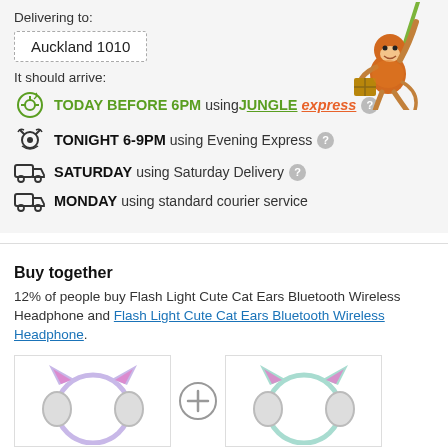Delivering to:
Auckland 1010
It should arrive:
TODAY BEFORE 6PM using JUNGLE express
TONIGHT 6-9PM using Evening Express
SATURDAY using Saturday Delivery
MONDAY using standard courier service
[Figure (illustration): Cartoon monkey swinging on a vine holding a package]
Buy together
12% of people buy Flash Light Cute Cat Ears Bluetooth Wireless Headphone and Flash Light Cute Cat Ears Bluetooth Wireless Headphone.
[Figure (photo): Flash Light Cute Cat Ears Bluetooth Wireless Headphone in purple/white]
[Figure (photo): Flash Light Cute Cat Ears Bluetooth Wireless Headphone in mint/white]